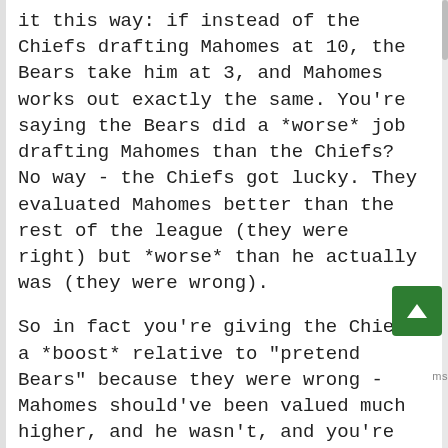it this way: if instead of the Chiefs drafting Mahomes at 10, the Bears take him at 3, and Mahomes works out exactly the same. You're saying the Bears did a *worse* job drafting Mahomes than the Chiefs? No way - the Chiefs got lucky. They evaluated Mahomes better than the rest of the league (they were right) but *worse* than he actually was (they were wrong).
So in fact you're giving the Chiefs a *boost* relative to "pretend Bears" because they were wrong - Mahomes should've been valued much higher, and he wasn't, and you're *docking* "pretend Bears" because they were even *mo right - Mahomes *was* worth that much.
It gets even worse when you start thinking about late round picks, because rewarding, say,